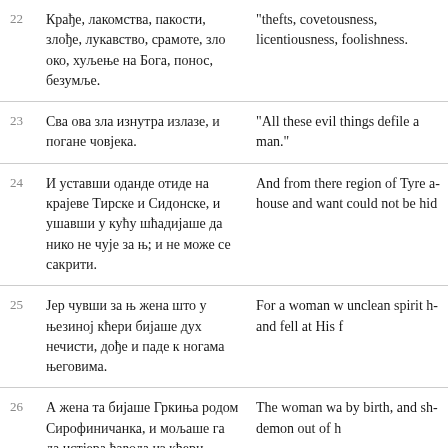| # | Serbian | English |
| --- | --- | --- |
| 22 | Крађе, лакомства, пакости, злође, лукавство, срамоте, зло око, хуљење на Бога, понос, безумље. | "thefts, covetousness, licentiousness, foolishness. |
| 23 | Сва ова зла изнутра излазе, и погане човјека. | "All these evil things defile a man." |
| 24 | И уставши оданде отиде на крајеве Тирске и Сидонске, и ушавши у кућу шћадијаше да нико не чује за њ; и не може се сакрити. | And from there He arose and went to the region of Tyre and entered a house and wanted no one to know; but He could not be hidden. |
| 25 | Јер чувши за њ жена што у њезиној кћери бијаше дух нечисти, дође и паде к ногама његовима. | For a woman whose daughter had an unclean spirit heard about Him, and fell at His feet. |
| 26 | А жена та бијаше Гркиња родом Сирофиничанка, и мољаше га да истјера ђавола из кћери њезине. | The woman was Greek, Syrophoenician by birth, and she kept asking Him to cast the demon out of her daughter. |